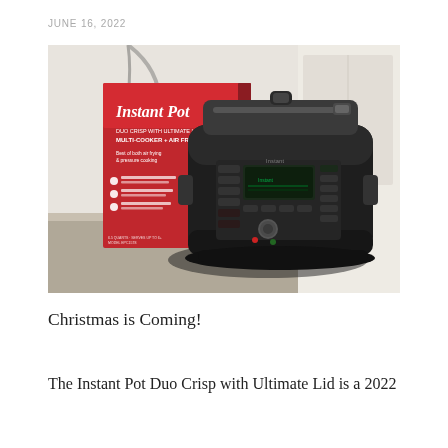JUNE 16, 2022
[Figure (photo): Product photo of the Instant Pot Duo Crisp with Ultimate Lid, a black multi-cooker and air fryer appliance, shown next to its red retail box on a kitchen counter. The box reads 'Instant Pot, DUO CRISP WITH ULTIMATE LID, MULTI-COOKER + AIR FRYER, Best of both air frying & pressure cooking'.]
Christmas is Coming!
The Instant Pot Duo Crisp with Ultimate Lid is a 2022